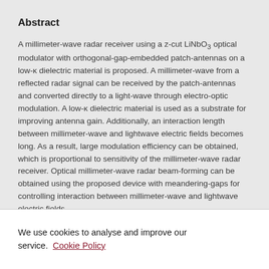Abstract
A millimeter-wave radar receiver using a z-cut LiNbO<inf>3</inf> optical modulator with orthogonal-gap-embedded patch-antennas on a low-κ dielectric material is proposed. A millimeter-wave from a reflected radar signal can be received by the patch-antennas and converted directly to a light-wave through electro-optic modulation. A low-κ dielectric material is used as a substrate for improving antenna gain. Additionally, an interaction length between millimeter-wave and lightwave electric fields becomes long. As a result, large modulation efficiency can be obtained, which is proportional to sensitivity of the millimeter-wave radar receiver. Optical millimeter-wave radar beam-forming can be obtained using the proposed device with meandering-gaps for controlling interaction between millimeter-wave and lightwave electric fields
We use cookies to analyse and improve our service. Cookie Policy